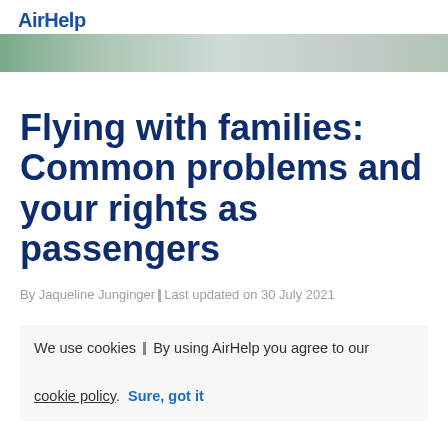AirHelp
[Figure (photo): Hero image strip showing airplane or travel scene in muted greens and grays]
Flying with families: Common problems and your rights as passengers
By Jaqueline Junginger | Last updated on 30 July 2021
We use cookies | By using AirHelp you agree to our cookie policy. Sure, got it